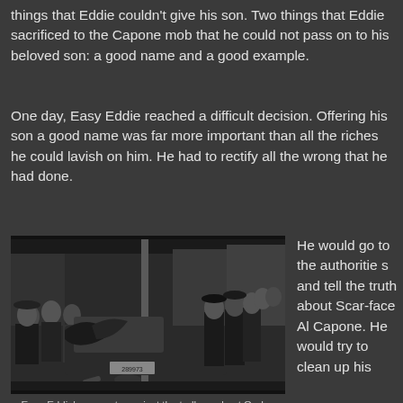things that Eddie couldn't give his son. Two things that Eddie sacrificed to the Capone mob that he could not pass on to his beloved son: a good name and a good example.
One day, Easy Eddie reached a difficult decision. Offering his son a good name was far more important than all the riches he could lavish on him. He had to rectify all the wrong that he had done.
[Figure (photo): Black and white photograph of Easy Eddie's car resting against a trolley pole, surrounded by police officers and onlookers, after his murder.]
Easy Eddie's car rests against the trolley pole at Ogden Avenue and Rockwell Street after his murder on Nov. 8, 1939. (Chicago Tribune archive photo)
He would go to the authorities and tell the truth about Scar-face Al Capone. He would try to clean up his